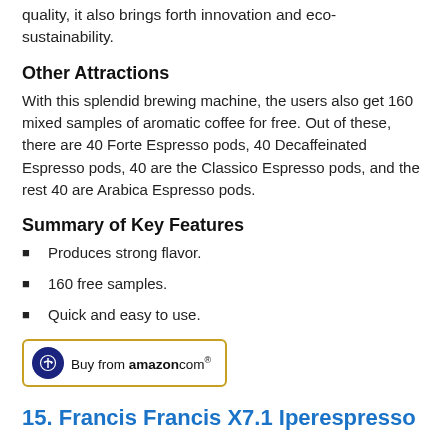quality, it also brings forth innovation and eco-sustainability.
Other Attractions
With this splendid brewing machine, the users also get 160 mixed samples of aromatic coffee for free. Out of these, there are 40 Forte Espresso pods, 40 Decaffeinated Espresso pods, 40 are the Classico Espresso pods, and the rest 40 are Arabica Espresso pods.
Summary of Key Features
Produces strong flavor.
160 free samples.
Quick and easy to use.
[Figure (other): Buy from amazon.com button with Amazon logo]
15. Francis Francis X7.1 Iperespresso